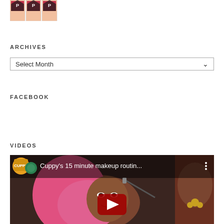[Figure (photo): Product image showing three bottles/packages at top left of page]
ARCHIVES
[Figure (screenshot): Select Month dropdown box]
FACEBOOK
VIDEOS
[Figure (screenshot): YouTube video embed showing Cuppy's 15 minute makeup routine with woman with pink hair applying makeup]